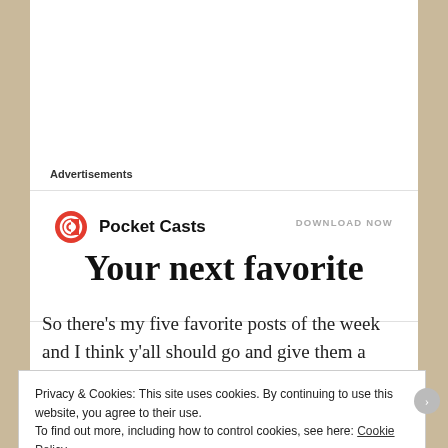Advertisements
[Figure (logo): Pocket Casts logo with red circular icon and text 'Pocket Casts', with 'DOWNLOAD NOW' link on the right]
Your next favorite
So there’s my five favorite posts of the week and I think y’all should go and give them a look.
As always,  don’t forget to check out the host of Blogger Love, Meagan on All The Joys and give her some blogger
Privacy & Cookies: This site uses cookies. By continuing to use this website, you agree to their use.
To find out more, including how to control cookies, see here: Cookie Policy